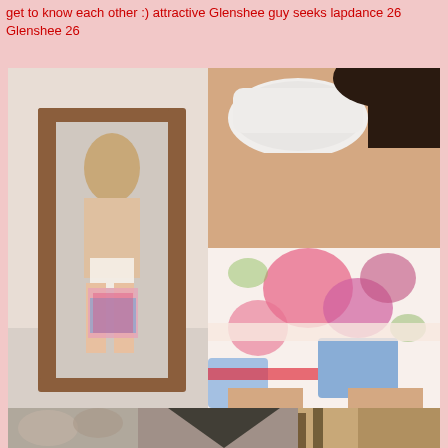get to know each other :) attractive Glenshee guy seeks lapdance 26 Glenshee 26
[Figure (photo): Person wearing a white bra top and colorful floral ruffled mini skirt, standing in a room with a wooden mirror behind them reflecting their back view.]
[Figure (photo): Partial bottom image showing a person, cropped view with dark and light tones.]